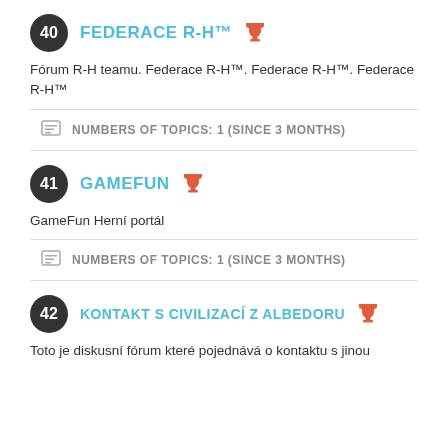40 FEDERACE R-H™
Fórum R-H teamu. Federace R-H™. Federace R-H™. Federace R-H™
NUMBERS OF TOPICS: 1 (SINCE 3 MONTHS)
41 GAMEFUN
GameFun Herní portál
NUMBERS OF TOPICS: 1 (SINCE 3 MONTHS)
42 KONTAKT S CIVILIZACÍ Z ALBEDORU
Toto je diskusní fórum které pojednává o kontaktu s jinou